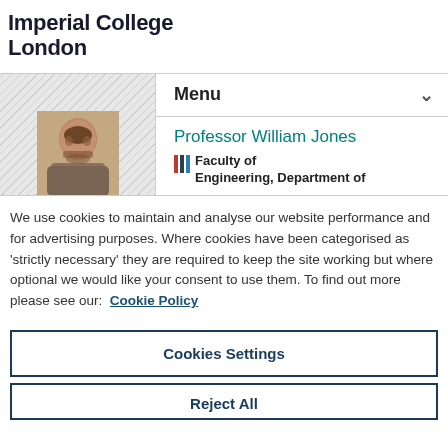Imperial College London
[Figure (photo): Profile photo of Professor William Jones, a middle-aged man with dark hair and a beard, shown from shoulders up]
Menu
Professor William Jones
Faculty of Engineering, Department of
We use cookies to maintain and analyse our website performance and for advertising purposes. Where cookies have been categorised as 'strictly necessary' they are required to keep the site working but where optional we would like your consent to use them. To find out more please see our: Cookie Policy
Cookies Settings
Reject All